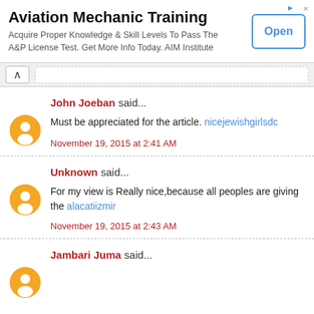[Figure (screenshot): Advertisement banner for Aviation Mechanic Training by AIM Institute with an Open button]
John Joeban said...
Must be appreciated for the article. nicejewishgirlsdc
November 19, 2015 at 2:41 AM
Unknown said...
For my view is Really nice,because all peoples are giving the alacatiizmir
November 19, 2015 at 2:43 AM
Jambari Juma said...